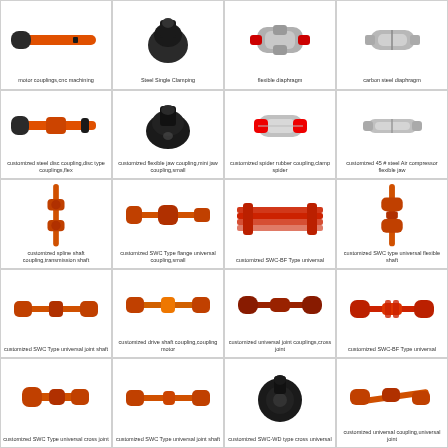[Figure (photo): motor couplings, cnc machining - orange/red shaft coupling]
motor couplings,cnc machining
[Figure (photo): Steel Single Clamping - black flanged coupling]
Steel Single Clamping
[Figure (photo): flexible diaphragm coupling - silver/chrome]
flexible diaphragm
[Figure (photo): carbon steel diaphragm coupling - silver clamp]
carbon steel diaphragm
[Figure (photo): customized steel disc coupling, disc type couplings, flex - orange shaft]
customized steel disc coupling,disc type couplings,flex
[Figure (photo): customized flexible jaw coupling, mini jaw coupling, small - black]
customized flexible jaw coupling,mini jaw coupling,small
[Figure (photo): customized spider rubber coupling, clamp spider - silver]
customized spider rubber coupling,clamp spider
[Figure (photo): customized 45 # steel air compressor flexible jaw - silver clamp]
customized 45 # steel Air compressor flexible jaw
[Figure (photo): customized spline shaft coupling, transmission shaft - orange]
customized spline shaft coupling,transmission shaft
[Figure (photo): customized SWC Type flange universal coupling, small - orange]
customized SWC Type flange universal coupling,small
[Figure (photo): customized SWC-BF Type universal - red multi-bar assembly]
customized SWC-BF Type universal
[Figure (photo): customized SWC type universal flexible shaft - orange]
customized SWC type universal flexible shaft
[Figure (photo): customized SWC Type universal joint shaft - orange compact]
customized SWC Type universal joint shaft
[Figure (photo): customized drive shaft coupling, coupling motor - orange long shaft]
customized drive shaft coupling,coupling motor
[Figure (photo): customized universal joint couplings, cross joint - dark red]
customized universal joint couplings,cross joint
[Figure (photo): customized SWC-BF Type universal - red compact]
customized SWC-BF Type universal
[Figure (photo): customized SWC Type universal cross joint - orange]
customized SWC Type universal cross joint
[Figure (photo): customized SWC Type universal joint shaft - orange compact 2]
customized SWC Type universal joint shaft
[Figure (photo): customized SWC-WD type cross universal - black large flange]
customized SWC-WD type cross universal
[Figure (photo): customized universal coupling, universal joint - orange angled]
customized universal coupling,universal joint